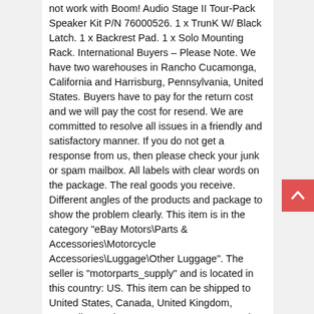not work with Boom! Audio Stage II Tour-Pack Speaker Kit P/N 76000526. 1 x TrunK W/ Black Latch. 1 x Backrest Pad. 1 x Solo Mounting Rack. International Buyers – Please Note. We have two warehouses in Rancho Cucamonga, California and Harrisburg, Pennsylvania, United States. Buyers have to pay for the return cost and we will pay the cost for resend. We are committed to resolve all issues in a friendly and satisfactory manner. If you do not get a response from us, then please check your junk or spam mailbox. All labels with clear words on the package. The real goods you receive. Different angles of the products and package to show the problem clearly. This item is in the category "eBay Motors\Parts & Accessories\Motorcycle Accessories\Luggage\Other Luggage". The seller is "motorparts_supply" and is located in this country: US. This item can be shipped to United States, Canada, United Kingdom, Australia, Mexico, Germany, Japan, Denmark, Romania, Slovakia, Bulgaria, Czech Republic, Finland, Hungary, Latvia, Lithuania, Malta, Estonia, Greece, Portugal, Cyprus, Slovenia, China, Sweden, Korea, South, Indonesia, Taiwan, South Africa, Thailand, Belgium, France, Hong Kong, Ireland, Netherlands,